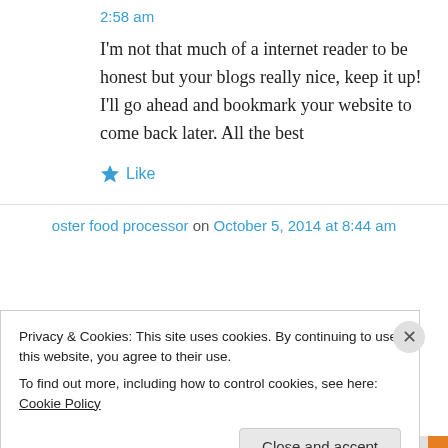2:58 am
I'm not that much of a internet reader to be honest but your blogs really nice, keep it up! I'll go ahead and bookmark your website to come back later. All the best
★ Like
oster food processor on October 5, 2014 at 8:44 am
Privacy & Cookies: This site uses cookies. By continuing to use this website, you agree to their use.
To find out more, including how to control cookies, see here: Cookie Policy
Close and accept